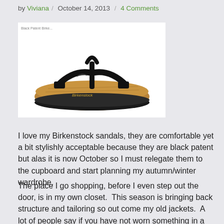by Viviana / October 14, 2013 / 4 Comments
[Figure (photo): Black patent Birkenstock sandal (thong/flip-flop style) with cork footbed, shown from a three-quarter angle on a white background. Small text label reads 'Black Patent Birke...' in upper left corner.]
I love my Birkenstock sandals, they are comfortable yet a bit stylishly acceptable because they are black patent but alas it is now October so I must relegate them to the cupboard and start planning my autumn/winter wardrobe.
The place I go shopping, before I even step out the door, is in my own closet.  This season is bringing back structure and tailoring so out come my old jackets.  A lot of people say if you have not worn something in a year you should get rid of it, I do not agree because